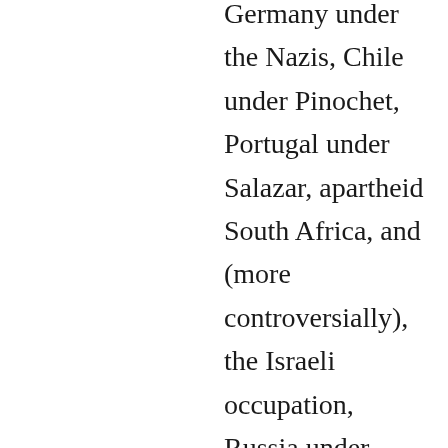Germany under the Nazis, Chile under Pinochet, Portugal under Salazar, apartheid South Africa, and (more controversially), the Israeli occupation, Russia under Putin, Hungary under Orban, the Philippines under Duterte, and Brazil under Bolsonaro. The claim that Temp...